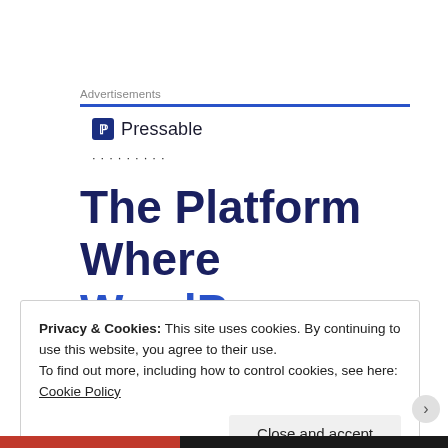Advertisements
[Figure (logo): Pressable logo with blue P icon and brand name]
The Platform Where WordPress Works Best
Privacy & Cookies: This site uses cookies. By continuing to use this website, you agree to their use.
To find out more, including how to control cookies, see here: Cookie Policy
Close and accept